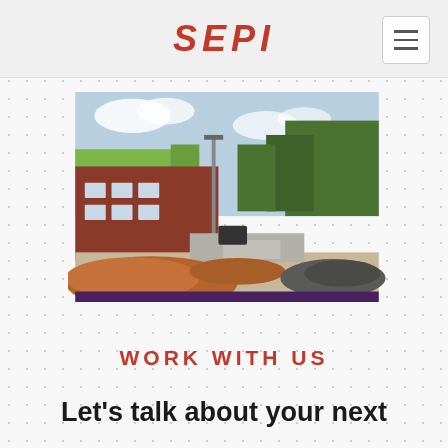SEPI
[Figure (photo): Construction site showing a brick building on the left with green roof section, a light pole in the center, earthwork with red clay soil and gravel mounds in the foreground, trees in the background, under a partly cloudy sky. A dark purple/maroon bar is at the bottom of the image.]
WORK WITH US
Let's talk about your next